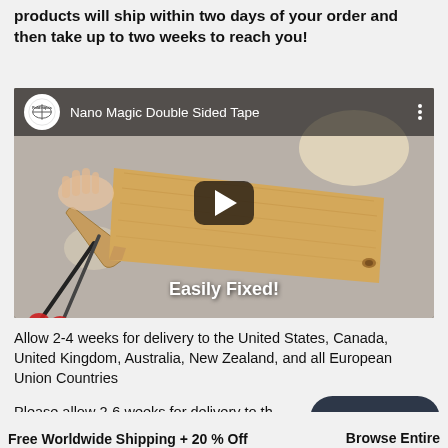products will ship within two days of your order and then take up to two weeks to reach you!
[Figure (screenshot): YouTube video thumbnail showing 'Nano Magic Double Sided Tape' with a wooden cutting board and scissors, with 'Easily Fixed!' overlay text and a play button.]
Allow 2-4 weeks for delivery to the United States, Canada, United Kingdom, Australia, New Zealand, and all European Union Countries
Please allow 2-6 weeks for delivery to th
Chat with us
Free Worldwide Shipping + 20 % Off  Browse Entire Collection